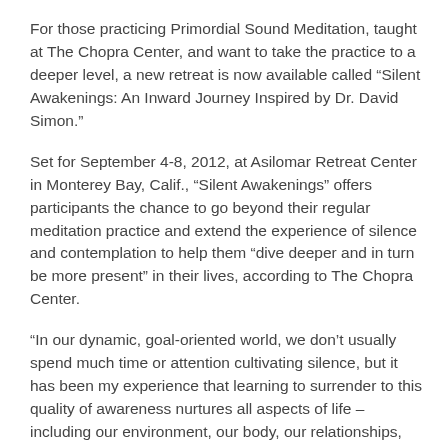For those practicing Primordial Sound Meditation, taught at The Chopra Center, and want to take the practice to a deeper level, a new retreat is now available called “Silent Awakenings: An Inward Journey Inspired by Dr. David Simon.”
Set for September 4-8, 2012, at Asilomar Retreat Center in Monterey Bay, Calif., “Silent Awakenings” offers participants the chance to go beyond their regular meditation practice and extend the experience of silence and contemplation to help them “dive deeper and in turn be more present” in their lives, according to The Chopra Center.
“In our dynamic, goal-oriented world, we don’t usually spend much time or attention cultivating silence, but it has been my experience that learning to surrender to this quality of awareness nurtures all aspects of life – including our environment, our body, our relationships, our creative expression, our heart and soul,” said Simon.